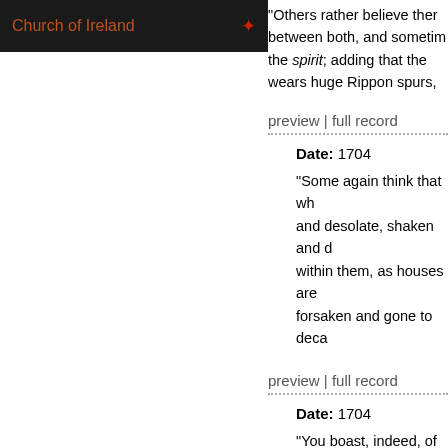Church of Ireland
"Others rather believe ther between both, and sometim the spirit; adding that the wears huge Rippon spurs,
preview | full record
Date: 1704
"Some again think that wh and desolate, shaken and d within them, as houses are forsaken and gone to deca
preview | full record
Date: 1704
"You boast, indeed, of bei drawing, and spinning out may judge of the Liquor i possess a good plentiful S